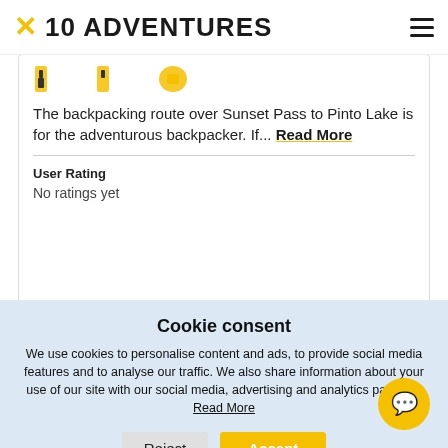10 ADVENTURES
[Figure (illustration): Three small yellow hiking/adventure icons (hiker figures) partially visible at top of card]
The backpacking route over Sunset Pass to Pinto Lake is for the adventurous backpacker. If... Read More
User Rating
No ratings yet
[Figure (photo): Partial photo of forest/nature scene at bottom of page]
Cookie consent

We use cookies to personalise content and ads, to provide social media features and to analyse our traffic. We also share information about your use of our site with our social media, advertising and analytics partners. Read More
Reject
Accept